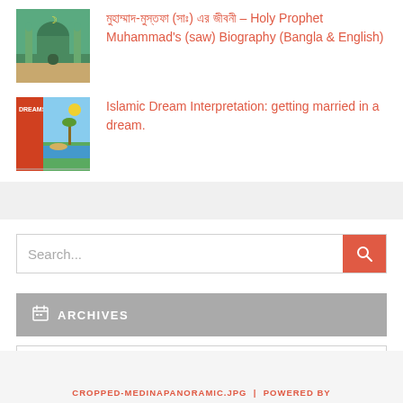[Figure (photo): Thumbnail of a mosque (green dome), representing Holy Prophet Muhammad biography post]
মুহাম্মাদ-মুস্তফা (সাঃ) এর জীবনী – Holy Prophet Muhammad's (saw) Biography (Bangla & English)
[Figure (photo): Thumbnail book cover for Islamic Dream Interpretation]
Islamic Dream Interpretation: getting married in a dream.
Search...
ARCHIVES
Select Month
CROPPED-MEDINAPANORAMIC.JPG | POWERED BY